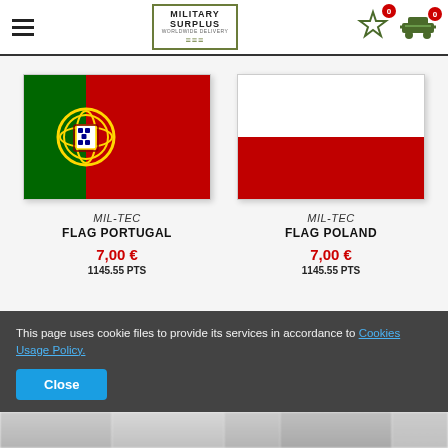Military Surplus — navigation header with hamburger menu, logo, and cart icons
[Figure (illustration): Portuguese flag: left third green, right two-thirds red, with circular coat of arms in center where the two colors meet]
MIL-TEC
FLAG PORTUGAL
7,00 €
1145.55 PTS
[Figure (illustration): Polish flag: top half white, bottom half red]
MIL-TEC
FLAG POLAND
7,00 €
1145.55 PTS
This page uses cookie files to provide its services in accordance to Cookies Usage Policy.
Close